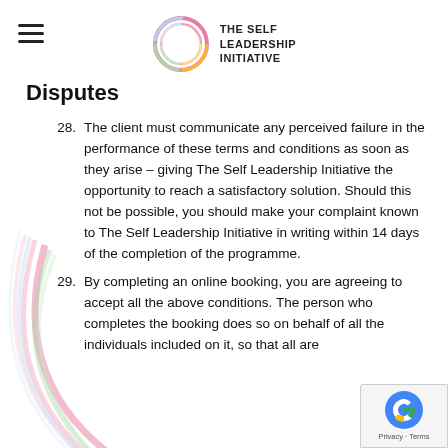THE SELF LEADERSHIP INITIATIVE
Disputes
28. The client must communicate any perceived failure in the performance of these terms and conditions as soon as they arise – giving The Self Leadership Initiative the opportunity to reach a satisfactory solution. Should this not be possible, you should make your complaint known to The Self Leadership Initiative in writing within 14 days of the completion of the programme.
29. By completing an online booking, you are agreeing to accept all the above conditions. The person who completes the booking does so on behalf of all the individuals included on it, so that all are